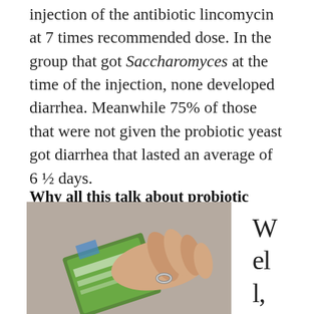injection of the antibiotic lincomycin at 7 times recommended dose. In the group that got Saccharomyces at the time of the injection, none developed diarrhea. Meanwhile 75% of those that were not given the probiotic yeast got diarrhea that lasted an average of 6 ½ days.
Why all this talk about probiotic yeast?
[Figure (photo): A hand holding a green medication/supplement package, partially visible at bottom of page]
Well,